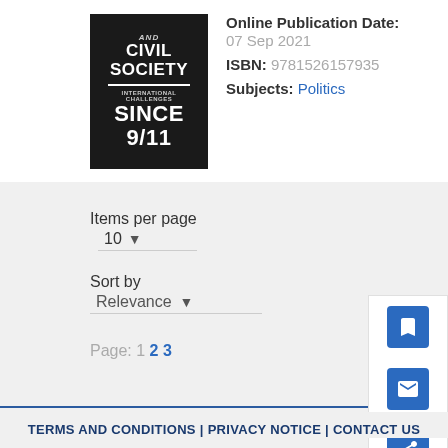[Figure (illustration): Book cover: 'AND CIVIL SOCIETY INTERNATIONAL CHALLENGES SINCE 9/11' on black background]
Online Publication Date: 07 Sep 2021
ISBN: 9781526157935
Subjects: Politics
Items per page 10
Sort by Relevance
Page: 1 2 3
TERMS AND CONDITIONS | PRIVACY NOTICE | CONTACT US